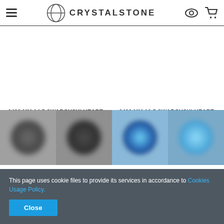CRYSTALSTONE
6432 MM 14,5 SWAROVSKI HEART CUT AMETHYST
2.67 €
6432 MM 10,5 SWAROVSKI HEART CUT JET
1.29 €
This page uses cookie files to provide its services in accordance to Cookies Usage Policy.
Close